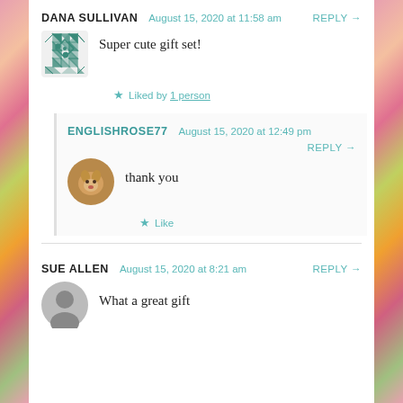DANA SULLIVAN  August 15, 2020 at 11:58 am  REPLY →
Super cute gift set!
★ Liked by 1 person
ENGLISHROSE77  August 15, 2020 at 12:49 pm  REPLY →
thank you
★ Like
SUE ALLEN  August 15, 2020 at 8:21 am  REPLY →
What a great gift